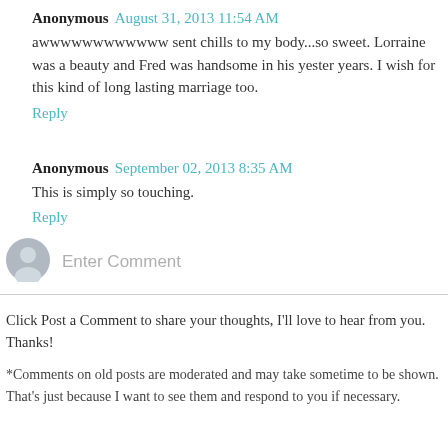Anonymous  August 31, 2013 11:54 AM
awwwwwwwwwwww sent chills to my body...so sweet. Lorraine was a beauty and Fred was handsome in his yester years. I wish for this kind of long lasting marriage too.
Reply
Anonymous  September 02, 2013 8:35 AM
This is simply so touching.
Reply
[Figure (illustration): User avatar icon - grey silhouette of a person in a circle]
Enter Comment
Click Post a Comment to share your thoughts, I'll love to hear from you. Thanks!
*Comments on old posts are moderated and may take sometime to be shown. That's just because I want to see them and respond to you if necessary.